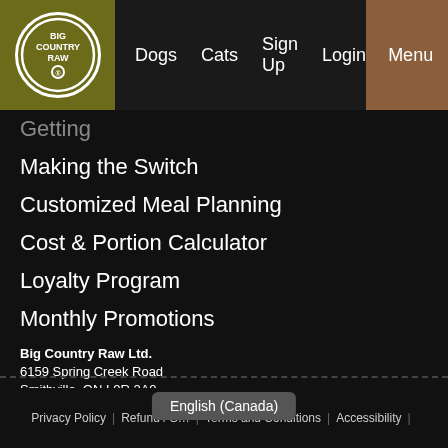Big Country Raw — Navigation bar with logo, Dogs, Cats, Sign Up, Login, Menu
Getting [Started]
Making the Switch
Customized Meal Planning
Cost & Portion Calculator
Loyalty Program
Monthly Promotions
Big Country Raw Ltd.
6159 Spring Creek Road
Smithville, ON L0R 2A0
+1 905-957-2717
info@bigcountryraw.ca
[Figure (logo): Instagram icon (white rounded square)]
[Figure (logo): Facebook icon (white rounded square)]
Privacy Policy | Refund / S… | Terms and Conditions | Accessibility |